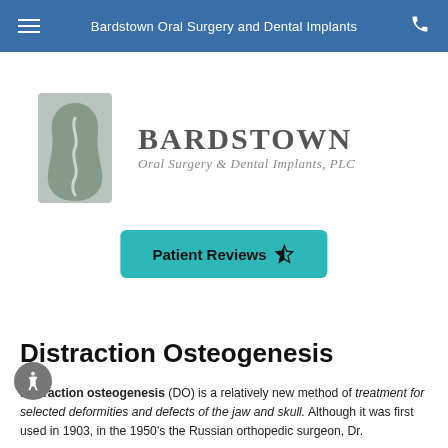Bardstown Oral Surgery and Dental Implants
[Figure (logo): Bardstown Oral Surgery & Dental Implants, PLC logo with teal/grey jaw profile icon and stylized text]
Patient Reviews ☆
Distraction Osteogenesis
Distraction osteogenesis (DO) is a relatively new method of treatment for selected deformities and defects of the jaw and skull. Although it was first used in 1903, in the 1950's the Russian orthopedic surgeon, Dr. Gabrielli, popularized the technique.